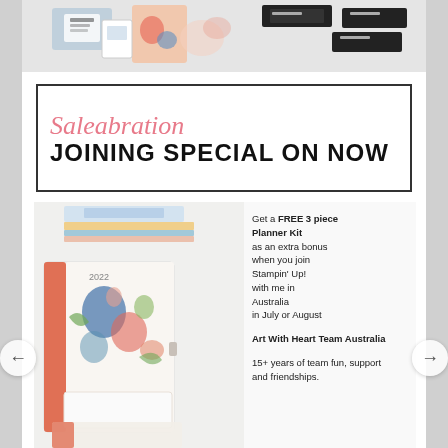[Figure (photo): Top photo showing crafting/stationery products including cards and labels on a white background]
Saleabration JOINING SPECIAL ON NOW
[Figure (photo): Promotional photo showing a floral planner kit with notebook, calendar, and accessories in coral and floral designs]
Get a FREE 3 piece Planner Kit as an extra bonus when you join Stampin' Up! with me in Australia in July or August
Art With Heart Team Australia 15+ years of team fun, support and friendships.